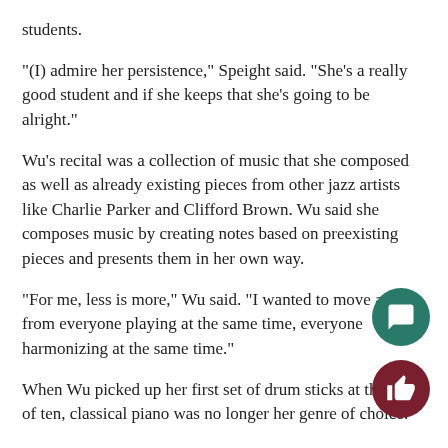students.
“(I) admire her persistence,” Speight said. “She’s a really good student and if she keeps that she’s going to be alright.”
Wu’s recital was a collection of music that she composed as well as already existing pieces from other jazz artists like Charlie Parker and Clifford Brown. Wu said she composes music by creating notes based on preexisting pieces and presents them in her own way.
“For me, less is more,” Wu said. “I wanted to move away from everyone playing at the same time, everyone harmonizing at the same time.”
When Wu picked up her first set of drum sticks at the age of ten, classical piano was no longer her genre of choice.
“I knew nothing about jazz until I was 19 years old,” Wu said. “I didn’t even know who Miles Davis was. But my curiosity about it kept me going.”